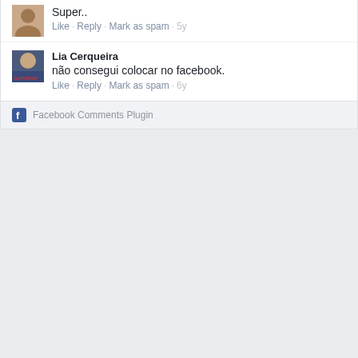Super...
Like · Reply · Mark as spam · 5y
Lia Cerqueira
não consegui colocar no facebook.
Like · Reply · Mark as spam · 6y
Facebook Comments Plugin